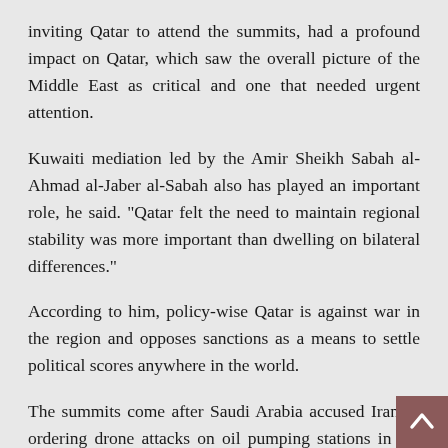inviting Qatar to attend the summits, had a profound impact on Qatar, which saw the overall picture of the Middle East as critical and one that needed urgent attention.
Kuwaiti mediation led by the Amir Sheikh Sabah al-Ahmad al-Jaber al-Sabah also has played an important role, he said. "Qatar felt the need to maintain regional stability was more important than dwelling on bilateral differences."
According to him, policy-wise Qatar is against war in the region and opposes sanctions as a means to settle political scores anywhere in the world.
The summits come after Saudi Arabia accused Iran of ordering drone attacks on oil pumping stations in the kingdom, which were claimed by Yemen's Iran-aligned